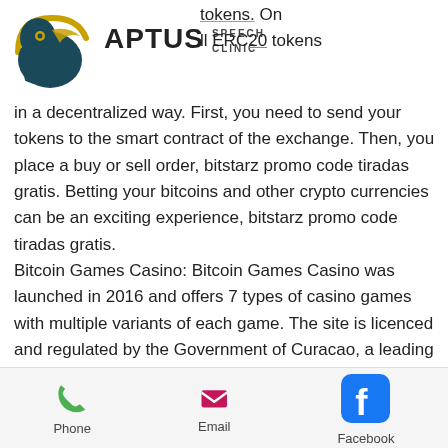[Figure (logo): Aptus Speech Clinic logo with bird graphic and text]
iDEX is the most popular decentralized tokens. On ll ERC20 tokens in a decentralized way. First, you need to send your tokens to the smart contract of the exchange. Then, you place a buy or sell order, bitstarz promo code tiradas gratis. Betting your bitcoins and other crypto currencies can be an exciting experience, bitstarz promo code tiradas gratis. Bitcoin Games Casino: Bitcoin Games Casino was launched in 2016 and offers 7 types of casino games with multiple variants of each game. The site is licenced and regulated by the Government of Curacao, a leading jurisdiction for online casinos sites. Unlike other online casinos, Bitcoin games has decided to go on its own and as such the site currently doesn't offer titles from any
Phone   Email   Facebook